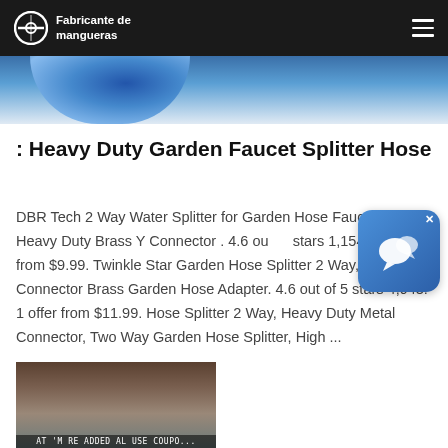Fabricante de mangueras
[Figure (photo): Partial blue hose image visible at top of page]
: Heavy Duty Garden Faucet Splitter Hose
DBR Tech 2 Way Water Splitter for Garden Hose Faucet Bib, Heavy Duty Brass Y Connector . 4.6 out of stars 1,154. 1 offer from $9.99. Twinkle Star Garden Hose Splitter 2 Way, Y Connector Brass Garden Hose Adapter. 4.6 out of 5 stars 4,943. 1 offer from $11.99. Hose Splitter 2 Way, Heavy Duty Metal Connector, Two Way Garden Hose Splitter, High ...
[Figure (photo): Close-up photo of garden hose splitter metal connector, dark background]
[Figure (screenshot): Chat widget overlay icon — blue rounded square with chat bubble icon and X close button]